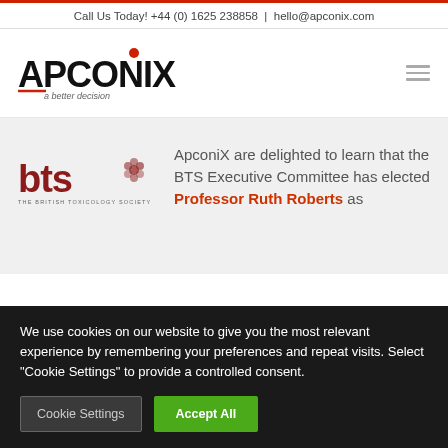Call Us Today! +44 (0) 1625 238858 | hello@apconix.com
[Figure (logo): ApconiX logo with red dot above the i, tagline 'a better decision']
[Figure (logo): BTS - The British Toxicology Society logo]
ApconiX are delighted to learn that the BTS Executive Committee has elected Professor Ruth Roberts as
We use cookies on our website to give you the most relevant experience by remembering your preferences and repeat visits. Select "Cookie Settings" to provide a controlled consent.